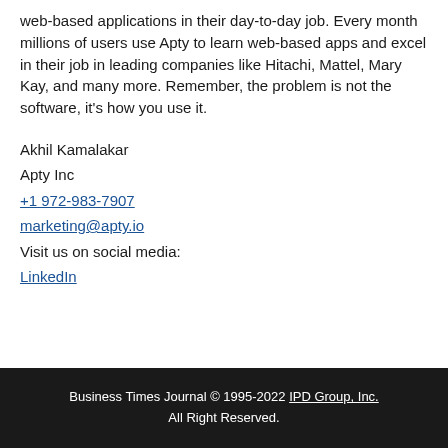web-based applications in their day-to-day job. Every month millions of users use Apty to learn web-based apps and excel in their job in leading companies like Hitachi, Mattel, Mary Kay, and many more. Remember, the problem is not the software, it's how you use it.
Akhil Kamalakar
Apty Inc
+1 972-983-7907
marketing@apty.io
Visit us on social media:
LinkedIn
Business Times Journal © 1995-2022 IPD Group, Inc. All Right Reserved.